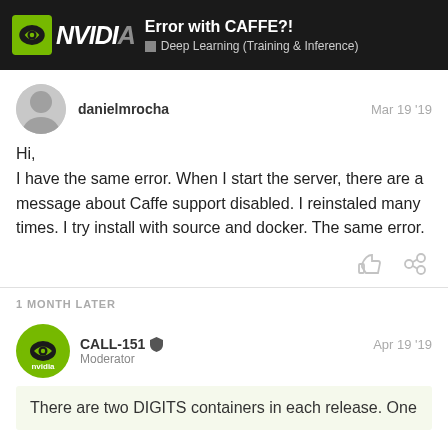Error with CAFFE?! — Deep Learning (Training & Inference)
danielmrocha — Mar 19 '19
Hi,
I have the same error. When I start the server, there are a message about Caffe support disabled. I reinstaled many times. I try install with source and docker. The same error.
1 MONTH LATER
CALL-151 Moderator — Apr 19 '19
There are two DIGITS containers in each release. One